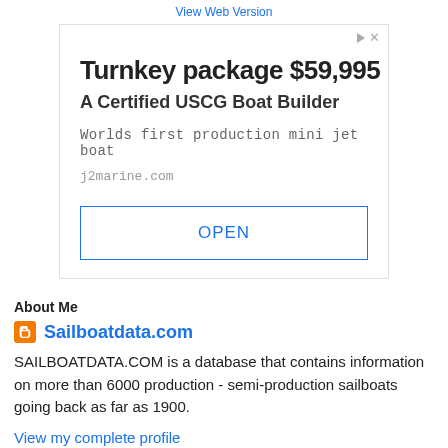View Web Version
[Figure (infographic): Advertisement box showing 'Turnkey package $59,995 / A Certified USCG Boat Builder / Worlds first production mini jet boat / j2marine.com' with an OPEN button]
About Me
Sailboatdata.com
SAILBOATDATA.COM is a database that contains information on more than 6000 production - semi-production sailboats going back as far as 1900.
View my complete profile
Powered by Blogger